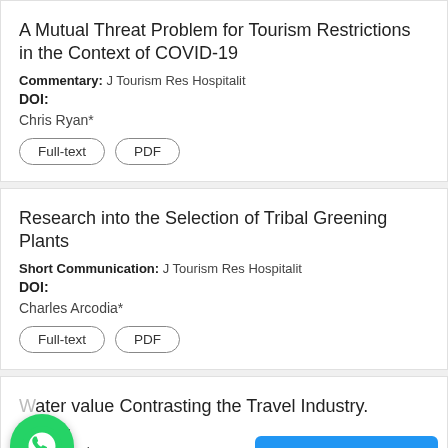A Mutual Threat Problem for Tourism Restrictions in the Context of COVID-19
Commentary: J Tourism Res Hospitalit
DOI:
Chris Ryan*
Research into the Selection of Tribal Greening Plants
Short Communication: J Tourism Res Hospitalit
DOI:
Charles Arcodia*
Water value Contrasting the Travel Industry.
al: JTRH
Hillary Benitton